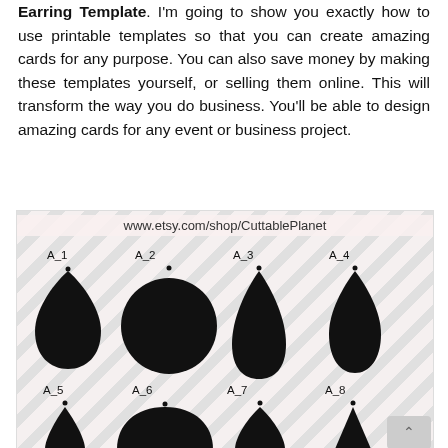Earring Template. I'm going to show you exactly how to use printable templates so that you can create amazing cards for any purpose. You can also save money by making these templates yourself, or selling them online. This will transform the way you do business. You'll be able to design amazing cards for any event or business project.
[Figure (illustration): Earring template shapes labeled A_1 through A_8 shown as black silhouettes on a diagonal striped background. Row 1: A_1 (teardrop), A_2 (circle), A_3 (elongated teardrop), A_4 (rounded teardrop). Row 2 (partial): A_5, A_6, A_7, A_8. URL: www.etsy.com/shop/CuttablePlanet]